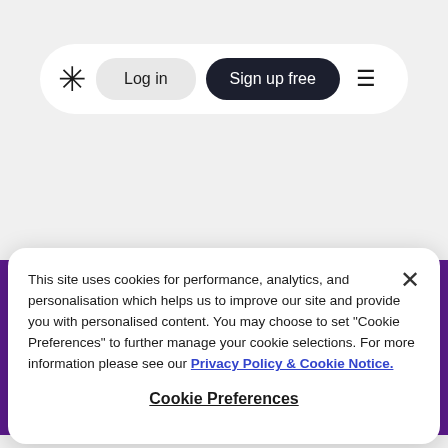[Figure (screenshot): Navigation bar with asterisk logo, Log in button, Sign up free button, and hamburger menu icon on white rounded pill background]
[Figure (illustration): Purple hero banner with teal illustrated figure/mascot silhouette and large pink heading text 'Jumpstart your corner']
This site uses cookies for performance, analytics, and personalisation which helps us to improve our site and provide you with personalised content. You may choose to set "Cookie Preferences" to further manage your cookie selections. For more information please see our Privacy Policy & Cookie Notice.
Cookie Preferences